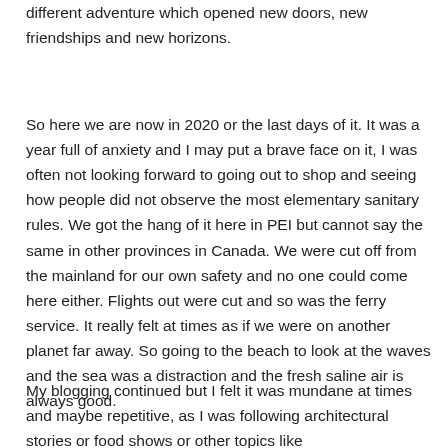different adventure which opened new doors, new friendships and new horizons.
So here we are now in 2020 or the last days of it. It was a year full of anxiety and I may put a brave face on it, I was often not looking forward to going out to shop and seeing how people did not observe the most elementary sanitary rules. We got the hang of it here in PEI but cannot say the same in other provinces in Canada. We were cut off from the mainland for our own safety and no one could come here either. Flights out were cut and so was the ferry service. It really felt at times as if we were on another planet far away. So going to the beach to look at the waves and the sea was a distraction and the fresh saline air is always good.
My blogging continued but I felt it was mundane at times and maybe repetitive, as I was following architectural stories or food shows or other topics like